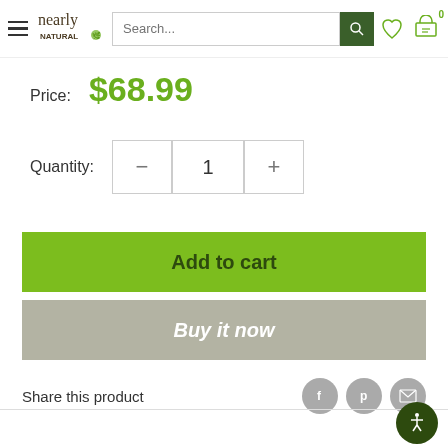[Figure (screenshot): Nearly Natural e-commerce website header with hamburger menu, logo, search bar, wishlist heart icon, and shopping cart icon with badge '0']
Price:  $68.99
Quantity:  −  1  +
Add to cart
Buy it now
Share this product